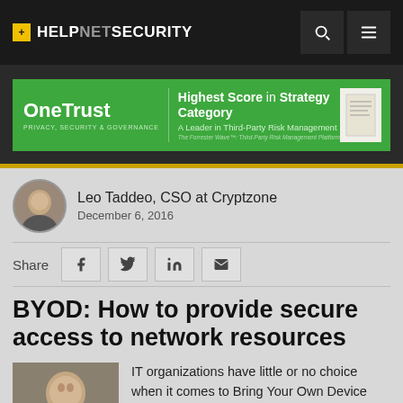+ HELPNETSECURITY
[Figure (illustration): OneTrust advertisement banner: green background with 'OneTrust - Privacy, Security & Governance' branding on the left and 'Highest Score in Strategy Category - A Leader in Third-Party Risk Management' text on the right with a small document image.]
Leo Taddeo, CSO at Cryptzone
December 6, 2016
Share
BYOD: How to provide secure access to network resources
[Figure (photo): Headshot photo of Leo Taddeo]
IT organizations have little or no choice when it comes to Bring Your Own Device (BYOD) programs. Employees want to access the network with their personally...